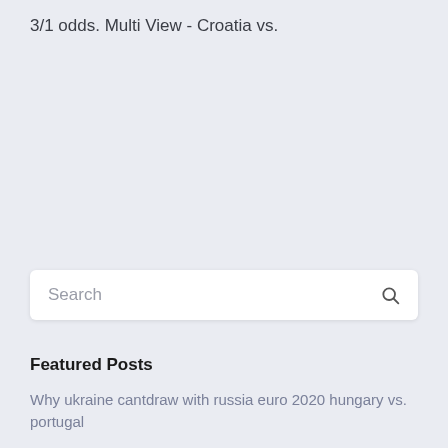3/1 odds. Multi View - Croatia vs.
Search
Featured Posts
Why ukraine cantdraw with russia euro 2020 hungary vs. portugal
Tickets euro 2020 ukraine vs. austria
Uefa euro 2020 qualifiers draw switzerland vs. turkey